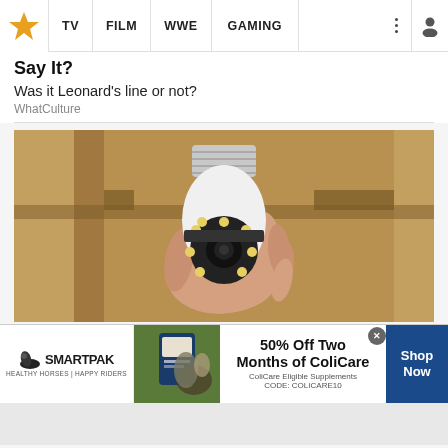TV | FILM | WWE | GAMING
Say It?
Was it Leonard's line or not?
WhatCulture
[Figure (photo): A hand holding a smart security camera designed to look like a lightbulb, with a light socket screw base at the top and a camera lens with LED lights at the bottom]
[Figure (photo): SmartPak advertisement: 50% Off Two Months of ColiCare. ColiCare Eligible Supplements. CODE: COLICARE10. Shop Now.]